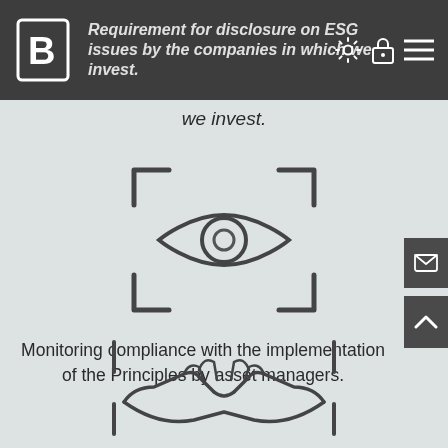Requirement for disclosure on ESG issues by the companies in which we invest.
[Figure (illustration): Scan/viewfinder icon with an eye in the center, depicted with corner bracket lines forming a square frame around a stylized eye with a circular pupil]
Monitoring compliance with the implementation of the Principles by asset managers.
[Figure (illustration): Handshake icon with scan bracket lines on either side, depicted in outline style]